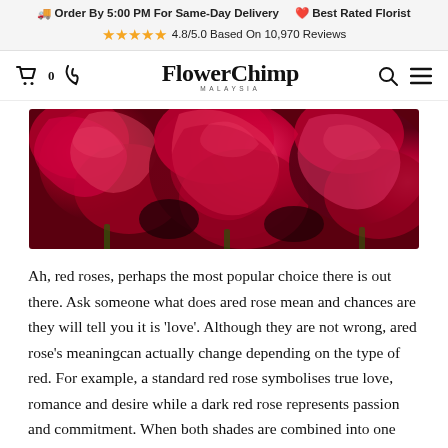🚚 Order By 5:00 PM For Same-Day Delivery  ❤️ Best Rated Florist
⭐⭐⭐⭐⭐ 4.8/5.0 Based On 10,970 Reviews
FlowerChimp MALAYSIA  [nav: cart 0, phone, search, menu]
[Figure (photo): Close-up photograph of vibrant dark red and crimson roses filling the entire frame, with green stems visible at the edges.]
Ah, red roses, perhaps the most popular choice there is out there. Ask someone what does ared rose mean and chances are they will tell you it is 'love'. Although they are not wrong, ared rose's meaningcan actually change depending on the type of red. For example, a standard red rose symbolises true love, romance and desire while a dark red rose represents passion and commitment. When both shades are combined into one lovely bouquet, the rose meaning transforms into appreciation and true respect, that's why weddings typically consist of red roses with multiple